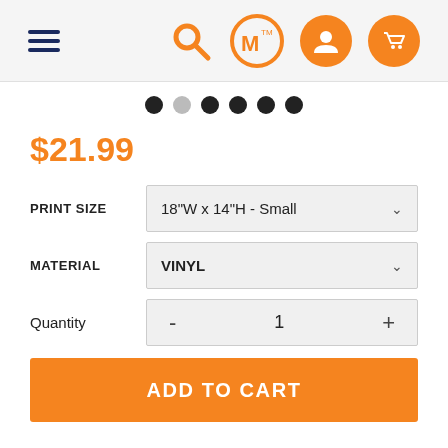Navigation header with hamburger menu, search icon, WM logo, user icon, cart icon
[Figure (other): Carousel dot indicators: 6 dots, second one is lighter/inactive, rest are dark]
$21.99
PRINT SIZE: 18"W x 14"H - Small
MATERIAL: VINYL
Quantity: 1
ADD TO CART